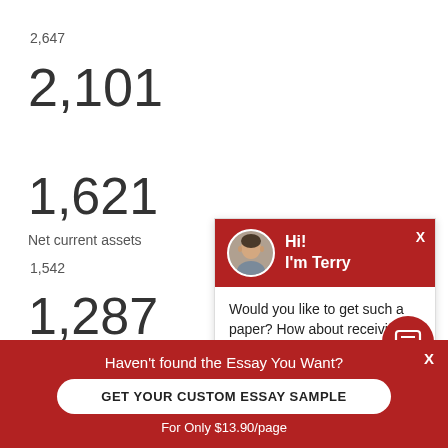2,647
2,101
1,621
Net current assets
1,542
1,287
810
[Figure (other): Chat widget with avatar of Terry. Header: Hi! I'm Terry. Body: Would you like to get such a paper? How about receiving a customized one? Check it out]
Haven't found the Essay You Want?
GET YOUR CUSTOM ESSAY SAMPLE
For Only $13.90/page